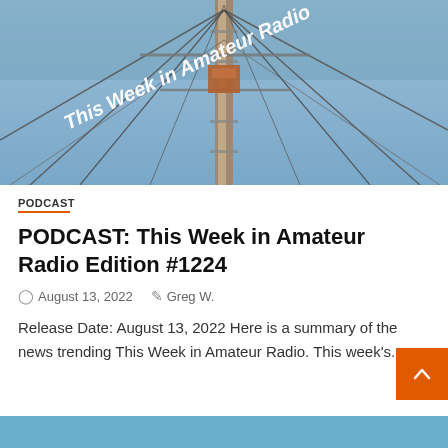[Figure (photo): Upward-looking photo of an antenna tower with guy wires against a blue sky. White italic text overlay reads 'This Week in Amateur Radio'.]
PODCAST
PODCAST: This Week in Amateur Radio Edition #1224
August 13, 2022   Greg W.
Release Date: August 13, 2022 Here is a summary of the news trending This Week in Amateur Radio. This week's...